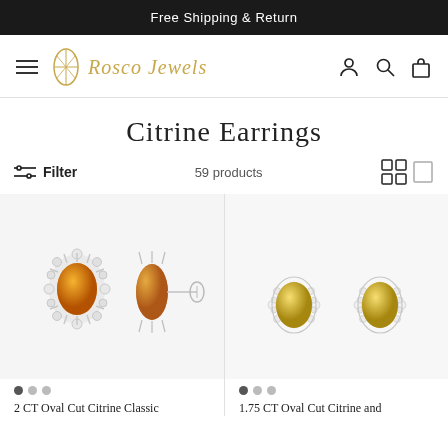Free Shipping & Return
[Figure (logo): Rosco Jewels logo with gem icon and italic gold script]
Citrine Earrings
Filter   59 products
[Figure (photo): 2 CT Oval Cut Citrine Classic earrings shown from front and side with silver setting]
[Figure (photo): 1.75 CT Oval Cut Citrine and diamond halo earrings shown as pair]
2 CT Oval Cut Citrine Classic
1.75 CT Oval Cut Citrine and